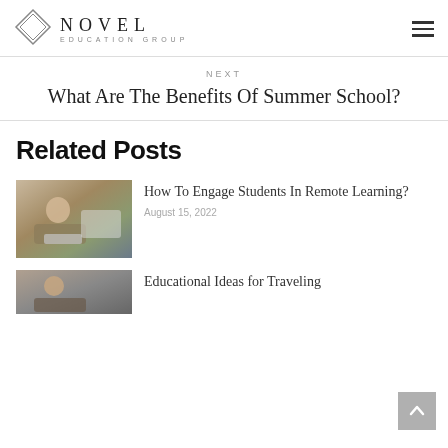NOVEL EDUCATION GROUP
NEXT
What Are The Benefits Of Summer School?
Related Posts
[Figure (photo): Young woman smiling while studying on a laptop at a desk]
How To Engage Students In Remote Learning?
August 15, 2022
[Figure (photo): Partial view of a second blog post thumbnail image]
Educational Ideas for Traveling